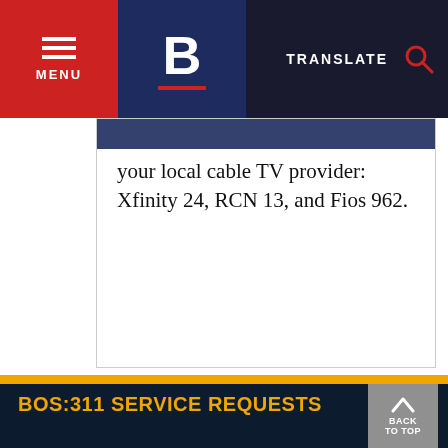MENU | B | TRANSLATE
your local cable TV provider: Xfinity 24, RCN 13, and Fios 962.
BOS:311 SERVICE REQUESTS
ALL BOS:311 REQUESTS
IMPROPER STORAGE OF TRASH BARRELS
REPORT UNSHOVELED SIDEWALK (WAIT UNTIL THREE HOURS AFTER SNOWFALL ENDS)